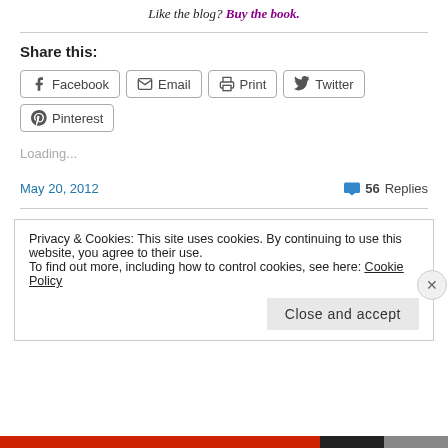Like the blog? Buy the book.
Share this:
[Figure (other): Share buttons: Facebook, Email, Print, Twitter, Pinterest]
Loading...
May 20, 2012
56 Replies
Privacy & Cookies: This site uses cookies. By continuing to use this website, you agree to their use.
To find out more, including how to control cookies, see here: Cookie Policy
Close and accept